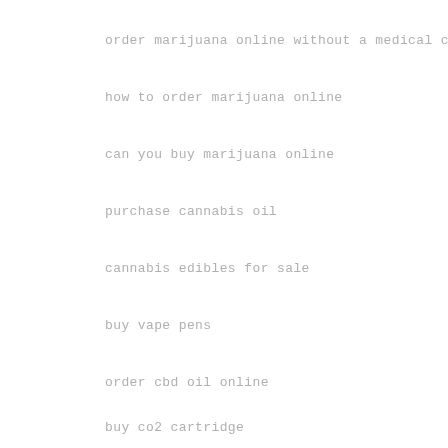order marijuana online without a medical card
how to order marijuana online
can you buy marijuana online
purchase cannabis oil
cannabis edibles for sale
buy vape pens
order cbd oil online
buy co2 cartridge